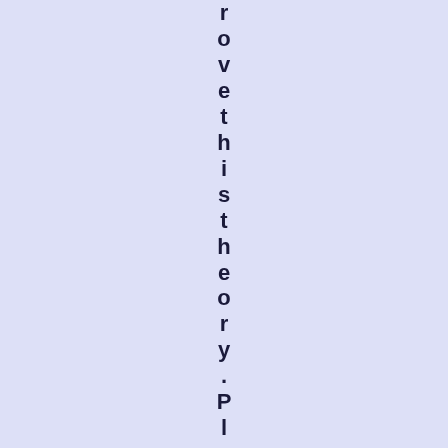rovethis theory. Please help pus!!